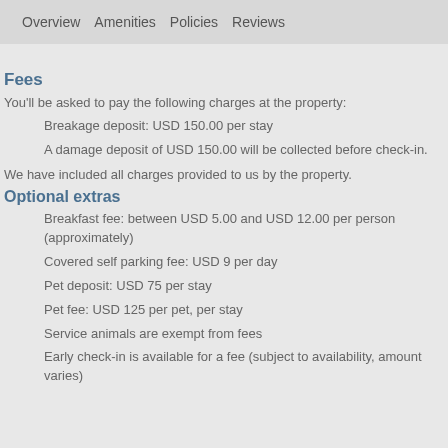Overview   Amenities   Policies   Reviews
Fees
You'll be asked to pay the following charges at the property:
Breakage deposit: USD 150.00 per stay
A damage deposit of USD 150.00 will be collected before check-in.
We have included all charges provided to us by the property.
Optional extras
Breakfast fee: between USD 5.00 and USD 12.00 per person (approximately)
Covered self parking fee: USD 9 per day
Pet deposit: USD 75 per stay
Pet fee: USD 125 per pet, per stay
Service animals are exempt from fees
Early check-in is available for a fee (subject to availability, amount varies)